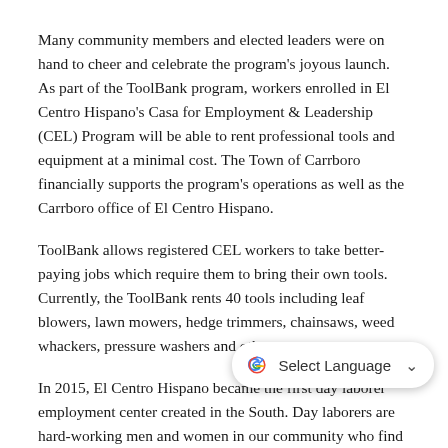Many community members and elected leaders were on hand to cheer and celebrate the program's joyous launch. As part of the ToolBank program, workers enrolled in El Centro Hispano's Casa for Employment & Leadership (CEL) Program will be able to rent professional tools and equipment at a minimal cost. The Town of Carrboro financially supports the program's operations as well as the Carrboro office of El Centro Hispano.
ToolBank allows registered CEL workers to take better-paying jobs which require them to bring their own tools. Currently, the ToolBank rents 40 tools including leaf blowers, lawn mowers, hedge trimmers, chainsaws, weed whackers, pressure washers and others.
In 2015, El Centro Hispano became the first day laborer employment center created in the South. Day laborers are hard-working men and women in our community who find work to support their families. El Centro Hispano protects and defends the rights of these workers and connects them with employers who will pay a fair wage.